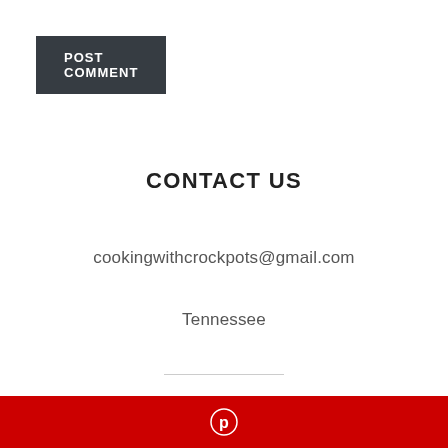POST COMMENT
CONTACT US
cookingwithcrockpots@gmail.com
Tennessee
[Figure (logo): Pinterest logo icon in white on a red footer bar]